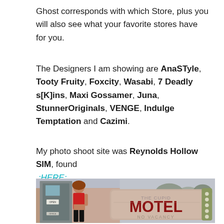Ghost corresponds with which Store, plus you will also see what your favorite stores have for you.
The Designers I am showing are AnaSTyle, Tooty Fruity, Foxcity, Wasabi, 7 Deadly s[K]ins, Maxi Gossamer, Juna, StunnerOriginals, VENGE, Indulge Temptation and Cazimi.
My photo shoot site was Reynolds Hollow SIM, found .:HERE:.
[Figure (photo): A virtual world (Second Life) scene showing a woman in a red outfit standing in a doorway marked OPEN, next to a large motel sign reading 'THE CUPID MOTEL NO VACANCY']